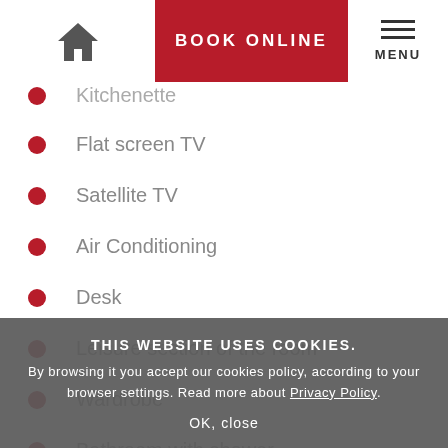BOOK ONLINE | MENU
Kitchenette
Flat screen TV
Satellite TV
Air Conditioning
Desk
Leisure section of the room
Wardrobe
Bathroom with shower
Bathroom with bath
Hairdryer
THIS WEBSITE USES COOKIES.
By browsing it you accept our cookies policy, according to your browser settings. Read more about Privacy Policy.
OK, close